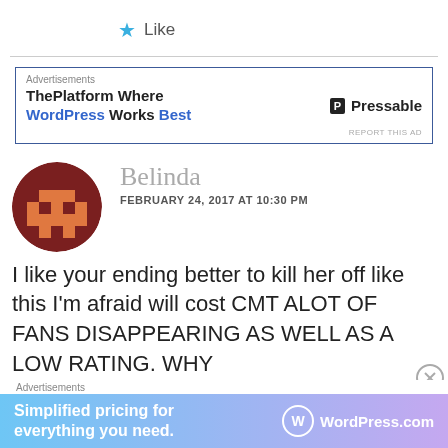★ Like
[Figure (infographic): Top advertisement banner for Pressable: 'ThePlatform Where WordPress Works Best' with Pressable logo on right. Blue border.]
[Figure (photo): Circular avatar showing a pixelated/8-bit style character with dark red/maroon and orange/tan colors]
Belinda
FEBRUARY 24, 2017 AT 10:30 PM
I like your ending better to kill her off like this I'm afraid will cost CMT ALOT OF FANS DISAPPEARING AS WELL AS A LOW RATING. WHY
[Figure (infographic): Bottom advertisement banner for WordPress.com: 'Simplified pricing for everything you need.' with WordPress.com logo on right, blue/purple gradient background.]